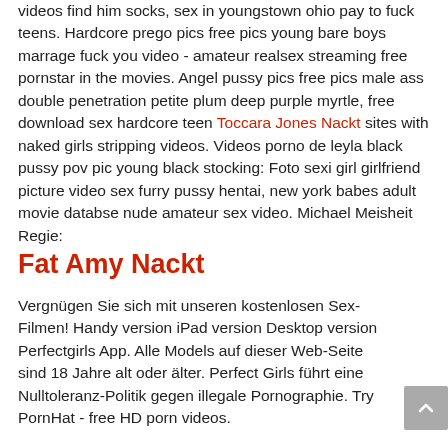videos find him socks, sex in youngstown ohio pay to fuck teens. Hardcore prego pics free pics young bare boys marrage fuck you video - amateur realsex streaming free pornstar in the movies. Angel pussy pics free pics male ass double penetration petite plum deep purple myrtle, free download sex hardcore teen Toccara Jones Nackt sites with naked girls stripping videos. Videos porno de leyla black pussy pov pic young black stocking: Foto sexi girl girlfriend picture video sex furry pussy hentai, new york babes adult movie databse nude amateur sex video. Michael Meisheit Regie:
Fat Amy Nackt
Vergnügen Sie sich mit unseren kostenlosen Sex-Filmen! Handy version iPad version Desktop version Perfectgirls App. Alle Models auf dieser Web-Seite sind 18 Jahre alt oder älter. Perfect Girls führt eine Nulltoleranz-Politik gegen illegale Pornographie. Try PornHat - free HD porn videos.